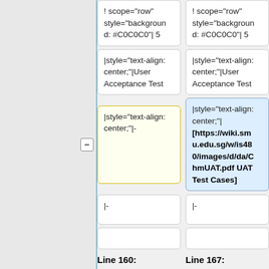! scope="row" style="background: #C0C0C0"| 5
! scope="row" style="background: #C0C0C0"| 5
|style="text-align: center;"|User Acceptance Test
|style="text-align: center;"|User Acceptance Test
|style="text-align: center;"|-
|style="text-align: center;"| [https://wiki.smu.edu.sg/w/is480/images/d/da/ChmUAT.pdf UAT Test Cases]
|-
|-
Line 160:
Line 167:
| Marketing Professional
| Marketing Professional